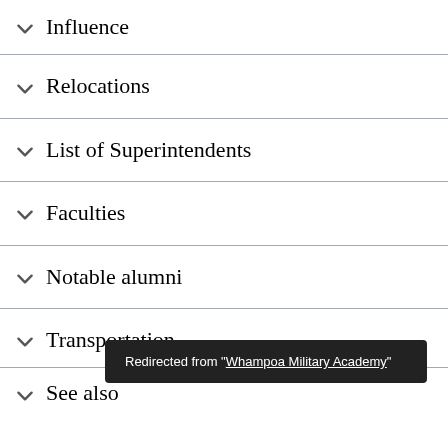Influence
Relocations
List of Superintendents
Faculties
Notable alumni
Transportation
See also
Redirected from "Whampoa Military Academy"